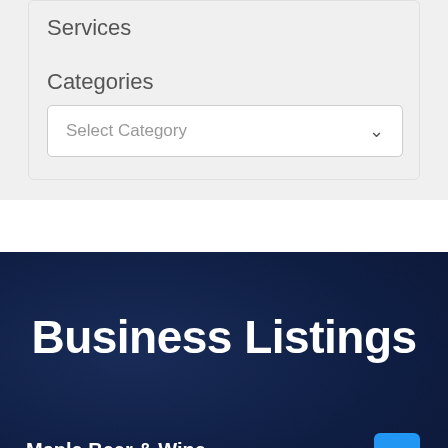Services
Categories
Select Category
Business Listings
Maple Beer & Wine
January 26, 2022